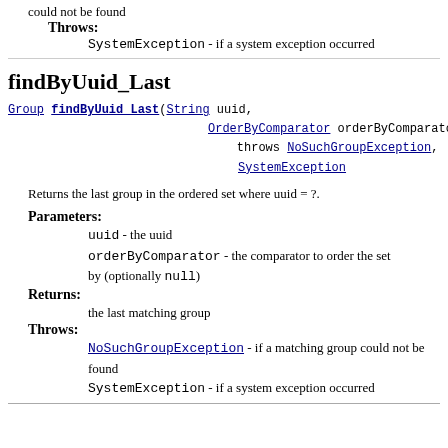could not be found
Throws:
SystemException - if a system exception occurred
findByUuid_Last
Group findByUuid_Last(String uuid, OrderByComparator orderByComparator throws NoSuchGroupException, SystemException
Returns the last group in the ordered set where uuid = ?.
Parameters:
uuid - the uuid
orderByComparator - the comparator to order the set by (optionally null)
Returns:
the last matching group
Throws:
NoSuchGroupException - if a matching group could not be found
SystemException - if a system exception occurred